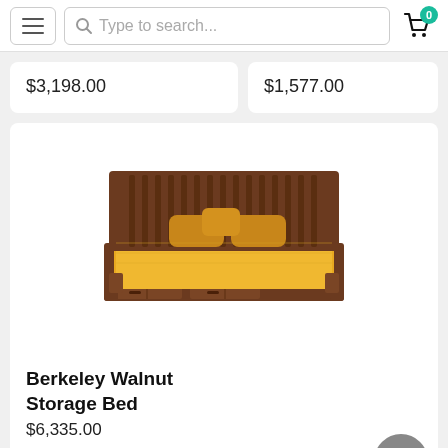Navigation header with hamburger menu, search bar 'Type to search...', and cart icon with badge 0
$3,198.00
$1,577.00
[Figure (photo): Berkeley Walnut Storage Bed — a wooden bed with vertical slat headboard, yellow/gold bedding and decorative pillows, dark walnut finish with under-bed storage drawers]
Berkeley Walnut Storage Bed
$6,335.00
Similar Items